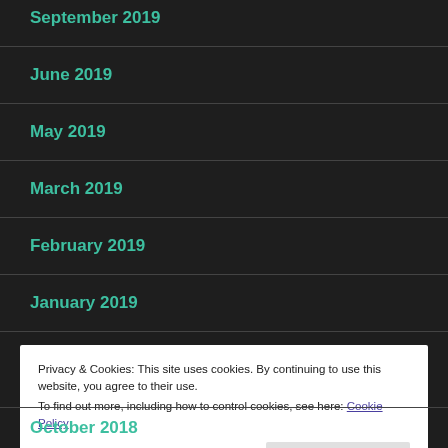September 2019
June 2019
May 2019
March 2019
February 2019
January 2019
Privacy & Cookies: This site uses cookies. By continuing to use this website, you agree to their use.
To find out more, including how to control cookies, see here: Cookie Policy
October 2018